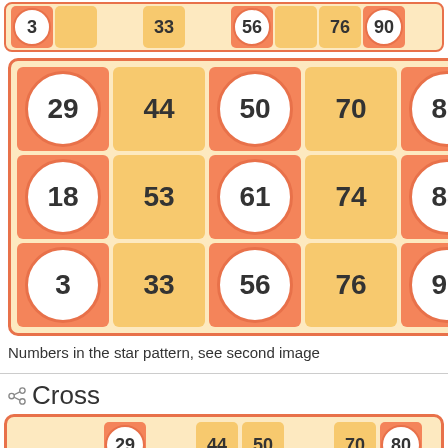[Figure (other): Partial bingo row showing numbers 3, 33, 56, 76, 90 in orange/yellow cells]
[Figure (other): Bingo card 3x5 grid with numbers: row1: 29,44,50,70,80; row2: 18,53,61,74,88; row3: 3,33,56,76,90. Orange and yellow alternating cells with white circles.]
Numbers in the star pattern, see second image
Cross
[Figure (other): Cross pattern bingo card 3x9 grid showing numbers 29,44,50,70,80 in row1; 18,53,61,74,88 in row2; 3,33,56,76,90 in row3 with some cells highlighted in orange with white circles and others in yellow or plain.]